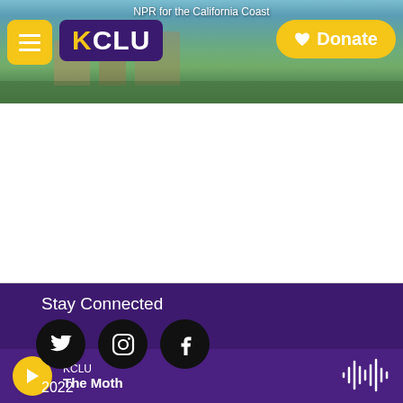[Figure (screenshot): KCLU radio station website header banner with coastal California background photo, hamburger menu button, KCLU logo, and Donate button]
NPR for the California Coast
Stay Connected
[Figure (illustration): Three social media icons (Twitter, Instagram, Facebook) as white icons on black circles]
2022
Contact Us
Public Files and Reports
KCLU  The Moth